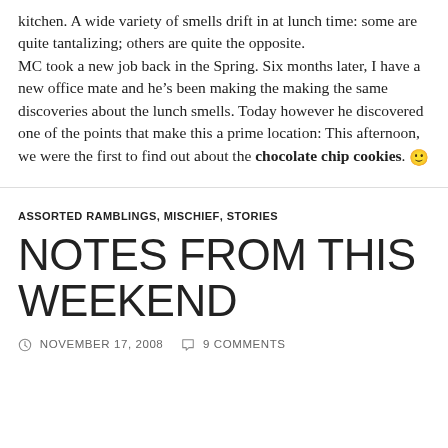kitchen. A wide variety of smells drift in at lunch time: some are quite tantalizing; others are quite the opposite.
MC took a new job back in the Spring. Six months later, I have a new office mate and he's been making the making the same discoveries about the lunch smells. Today however he discovered one of the points that make this a prime location: This afternoon, we were the first to find out about the chocolate chip cookies. 🙂
ASSORTED RAMBLINGS, MISCHIEF, STORIES
NOTES FROM THIS WEEKEND
NOVEMBER 17, 2008   9 COMMENTS